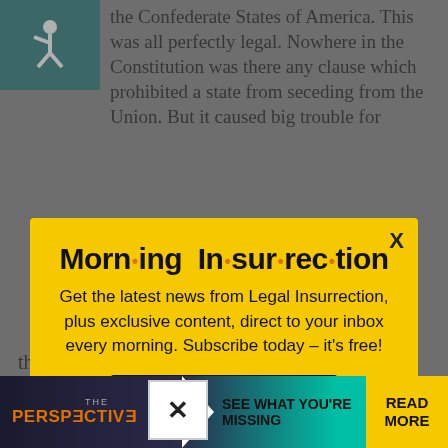the Confederate States of America. This was all perfectly legal. Nowhere in the Constitution was there any clause which prohibited a state from seceding from the Union. But it caused big trouble for
[Figure (infographic): Yellow modal popup overlay for Morning Insurrection newsletter signup with title, description text, and JOIN NOW button]
the central North American continent.
[Figure (infographic): Advertisement banner: THE PERSPECTIVE - SEE WHAT YOU'RE MISSING with READ MORE button]
remove its troops from Fort Sumter